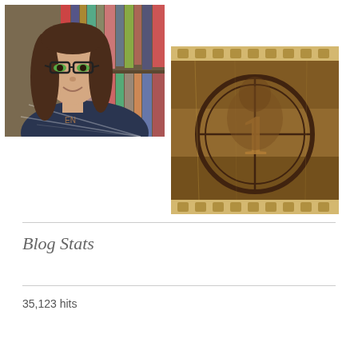[Figure (photo): Selfie photo of a young woman with long brown hair and glasses wearing a plaid flannel shirt, standing in front of bookshelves]
[Figure (photo): Vintage film strip style image with aged/sepia tones, showing a countdown leader frame with a large number 1 circle, resembling old movie film reel art]
Blog Stats
35,123 hits